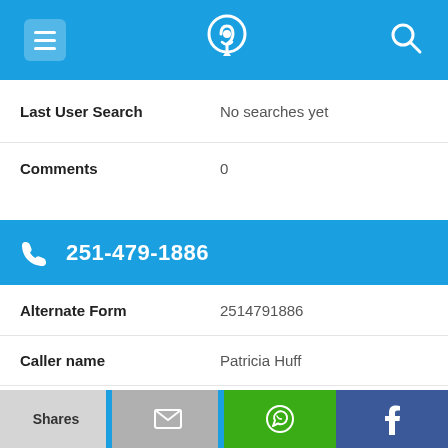[Figure (screenshot): Top navigation bar with blue background, hamburger menu icon on left, phone/location pin logo in center, search icon on right]
Last User Search	No searches yet
Comments	0
251-479-1886
Alternate Form	2514791886
Caller name	Patricia Huff
Last User Search	No searches yet
Comments	0
[Figure (screenshot): Bottom share bar with four buttons: Shares (light gray), email icon (gray), WhatsApp icon (green), Facebook icon (navy blue)]